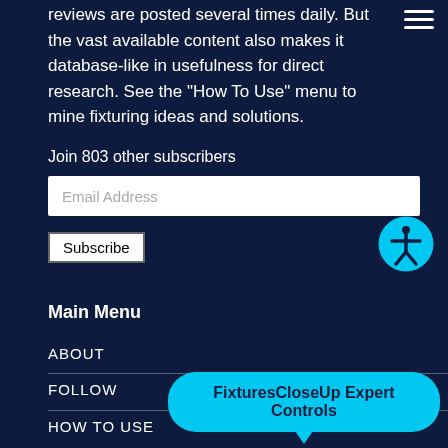reviews are posted several times daily. But the vast available content also makes it database-like in usefulness for direct research. See the “How To Use” menu to mine fixturing ideas and solutions.
Join 803 other subscribers
Email Address
Subscribe
[Figure (illustration): Accessibility icon: blue circle with white human figure with arms and legs extended]
Main Menu
ABOUT
FOLLOW
HOW TO USE
FixturesCloseUp Expert Controls